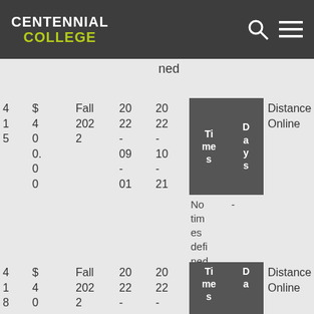CENTENNIAL COLLEGE
ned
| Section | Cost | Term | Start | End | Times | Days | Delivery |
| --- | --- | --- | --- | --- | --- | --- | --- |
| 415 | $400.00 | Fall 2022 | 2022-09-01 | 2022-10-21 | No times defined | - | Distance Online |
| Section | Cost | Term | Start | End | Times | Days | Delivery |
| --- | --- | --- | --- | --- | --- | --- | --- |
| 418 | $40 | Fall 2022 | 20 22 - | 20 22 - | Ti me s | D a y s | Distance Online |